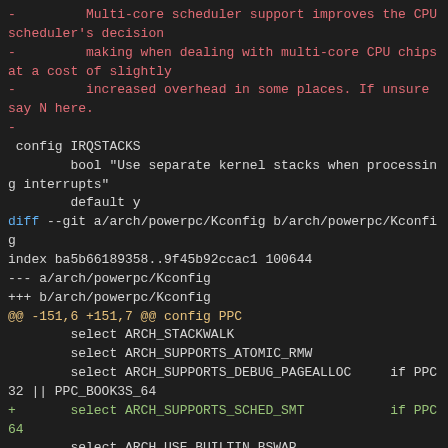Diff/patch content showing multi-core scheduler support and Kconfig changes for powerpc architecture including ARCH_SUPPORTS_SCHED_SMT addition.